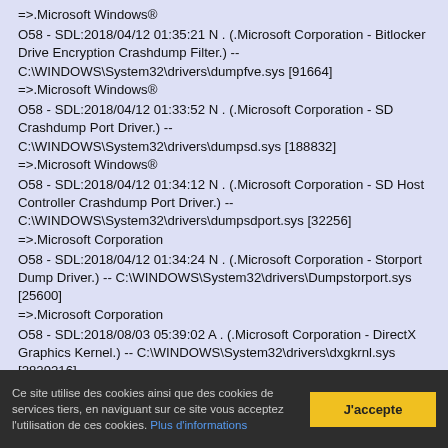=>.Microsoft Windows®
O58 - SDL:2018/04/12 01:35:21 N . (.Microsoft Corporation - Bitlocker Drive Encryption Crashdump Filter.) -- C:\WINDOWS\System32\drivers\dumpfve.sys [91664] =>.Microsoft Windows®
O58 - SDL:2018/04/12 01:33:52 N . (.Microsoft Corporation - SD Crashdump Port Driver.) -- C:\WINDOWS\System32\drivers\dumpsd.sys [188832] =>.Microsoft Windows®
O58 - SDL:2018/04/12 01:34:12 N . (.Microsoft Corporation - SD Host Controller Crashdump Port Driver.) -- C:\WINDOWS\System32\drivers\dumpsdport.sys [32256] =>.Microsoft Corporation
O58 - SDL:2018/04/12 01:34:24 N . (.Microsoft Corporation - Storport Dump Driver.) -- C:\WINDOWS\System32\drivers\Dumpstorport.sys [25600] =>.Microsoft Corporation
O58 - SDL:2018/08/03 05:39:02 A . (.Microsoft Corporation - DirectX Graphics Kernel.) -- C:\WINDOWS\System32\drivers\dxgkrnl.sys [2829216]
Ce site utilise des cookies ainsi que des cookies de services tiers, en naviguant sur ce site vous acceptez l'utilisation de ces cookies. Plus d'informations
J'accepte